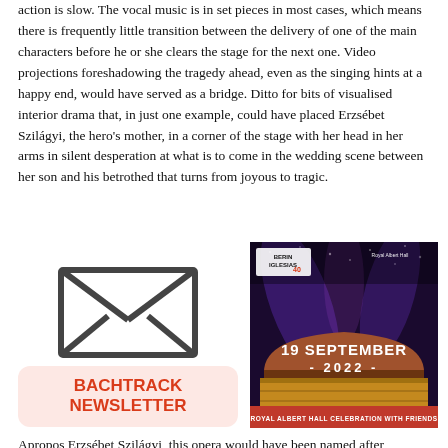action is slow. The vocal music is in set pieces in most cases, which means there is frequently little transition between the delivery of one of the main characters before he or she clears the stage for the next one. Video projections foreshadowing the tragedy ahead, even as the singing hints at a happy end, would have served as a bridge. Ditto for bits of visualised interior drama that, in just one example, could have placed Erzsébet Szilágyi, the hero's mother, in a corner of the stage with her head in her arms in silent desperation at what is to come in the wedding scene between her son and his betrothed that turns from joyous to tragic.
[Figure (illustration): Envelope icon (newsletter signup illustration)]
[Figure (photo): Advertisement image: Berin Iglesias at Royal Albert Hall, 19 September 2022, Royal Albert Hall Celebration with Friends]
Apropos Erzsébet Szilágyi, this opera would have been named after